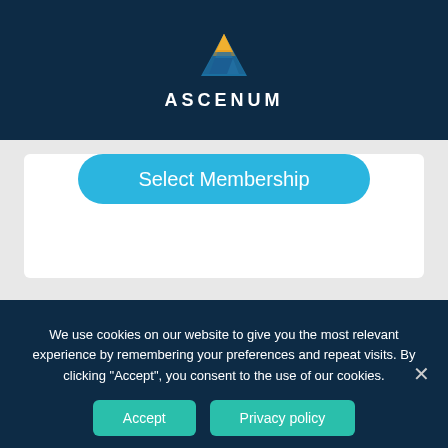[Figure (logo): Ascenum logo: mountain/triangle icon in gold and blue above the text ASCENUM in white letters on dark navy background]
ASCENUM
Select Membership
[Figure (screenshot): Partial laptop/tablet screen showing a website interface with blue header]
We use cookies on our website to give you the most relevant experience by remembering your preferences and repeat visits. By clicking "Accept", you consent to the use of our cookies.
Accept
Privacy policy